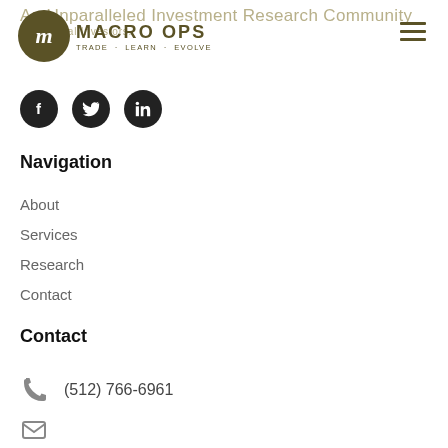An Unparalleled Investment Research Community for Tactical Investors. MACRO OPS TRADE · LEARN · EVOLVE
[Figure (logo): Macro Ops logo with circular emblem and text MACRO OPS, tagline TRADE LEARN EVOLVE, hamburger menu icon on right]
[Figure (infographic): Three social media icons: Facebook, Twitter, LinkedIn — black circles with white icons]
Navigation
About
Services
Research
Contact
Contact
(512) 766-6961